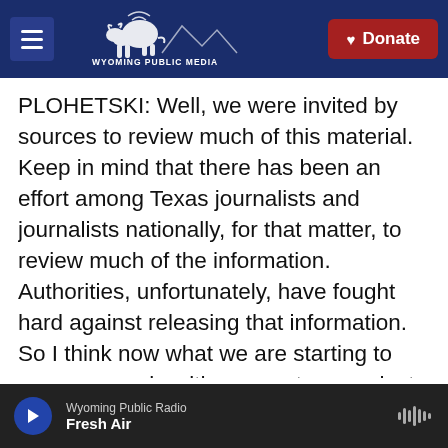Wyoming Public Media — Donate
PLOHETSKI: Well, we were invited by sources to review much of this material. Keep in mind that there has been an effort among Texas journalists and journalists nationally, for that matter, to review much of the information. Authorities, unfortunately, have fought hard against releasing that information. So I think now what we are starting to see are people with access to records, to documents, to evidence about what happened that day and feel compelled by the public's right to know. And so at this stage, they are going to journalists here locally and sharing some of that
Wyoming Public Radio — Fresh Air